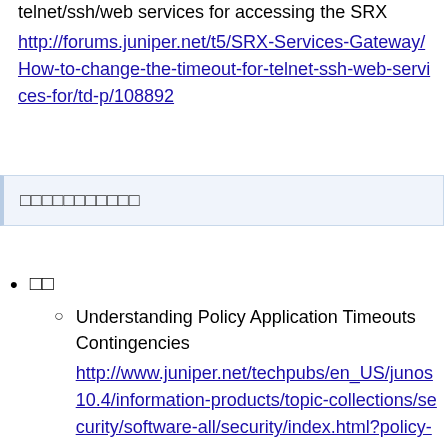telnet/ssh/web services for accessing the SRX
http://forums.juniper.net/t5/SRX-Services-Gateway/How-to-change-the-timeout-for-telnet-ssh-web-services-for/td-p/108892
□□□□□□□□□□□
□□
Understanding Policy Application Timeouts Contingencies
http://www.juniper.net/techpubs/en_US/junos10.4/information-products/topic-collections/security/software-all/security/index.html?policy-app-